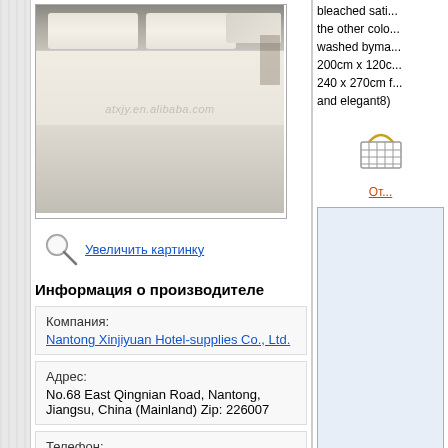[Figure (photo): Product photo of white hotel bedding/duvet on a bed, with watermark atxjy.en.alibaba.com]
Увеличить картинку
Информация о производителе
| Компания: | Nantong Xinjiyuan Hotel-supplies Co., Ltd. |
| Адрес: | No.68 East Qingnian Road, Nantong, Jiangsu, China (Mainland) Zip: 226007 |
| Телефон: |  |
bleached satin the other colo washed byma 200cm x 120c 240 x 270cm f and elegant8)
[Figure (illustration): Shopping basket icon]
От